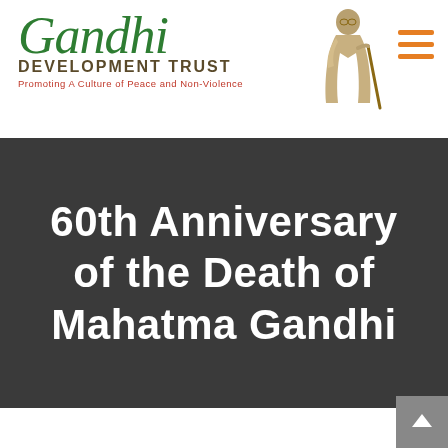[Figure (logo): Gandhi Development Trust logo: green cursive 'Gandhi' text, below it 'DEVELOPMENT TRUST' in bold dark tan, and tagline 'Promoting A Culture of Peace and Non-Violence' in red. A tan illustration of Gandhi holding a walking stick appears to the right.]
60th Anniversary of the Death of Mahatma Gandhi